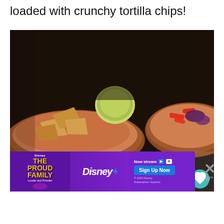loaded with crunchy tortilla chips!
[Figure (photo): Close-up photo of bowls of creamy orange-colored soup/dip topped with colorful garnishes including red bell peppers, purple/blue tortilla chips, cilantro, and a silver spoon. Multiple bowls visible with tortilla chips on the side, set on a dark surface.]
[Figure (other): Disney+ advertisement banner for 'The Proud Family: Louder and Prouder' with purple background, Disney character, Disney+ logo, 'Now streaming', 'Sign Up Now' button, and close buttons.]